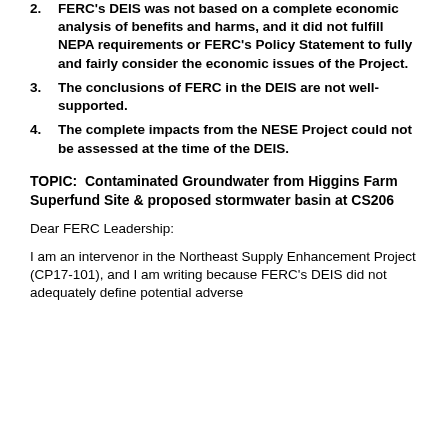2. FERC's DEIS was not based on a complete economic analysis of benefits and harms, and it did not fulfill NEPA requirements or FERC's Policy Statement to fully and fairly consider the economic issues of the Project.
3. The conclusions of FERC in the DEIS are not well-supported.
4. The complete impacts from the NESE Project could not be assessed at the time of the DEIS.
TOPIC:  Contaminated Groundwater from Higgins Farm Superfund Site & proposed stormwater basin at CS206
Dear FERC Leadership:
I am an intervenor in the Northeast Supply Enhancement Project (CP17-101), and I am writing because FERC's DEIS did not adequately define potential adverse